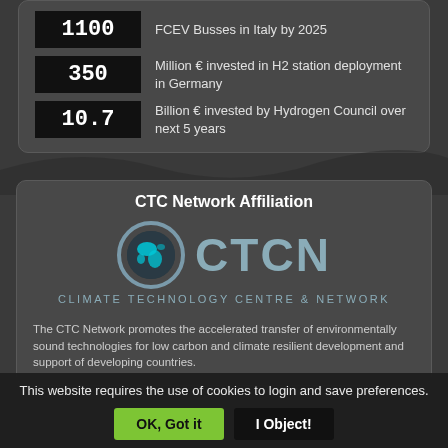1100 — FCEV Busses in Italy by 2025
350 — Million € invested in H2 station deployment in Germany
10.7 — Billion € invested by Hydrogen Council over next 5 years
CTC Network Affiliation
[Figure (logo): CTCN Climate Technology Centre & Network logo: globe icon with teal continents in a circular grey ring, followed by large grey bold text 'CTCN', and subtitle 'CLIMATE TECHNOLOGY CENTRE & NETWORK']
The CTC Network promotes the accelerated transfer of environmentally sound technologies for low carbon and climate resilient development and support of developing countries.
This website requires the use of cookies to login and save preferences.